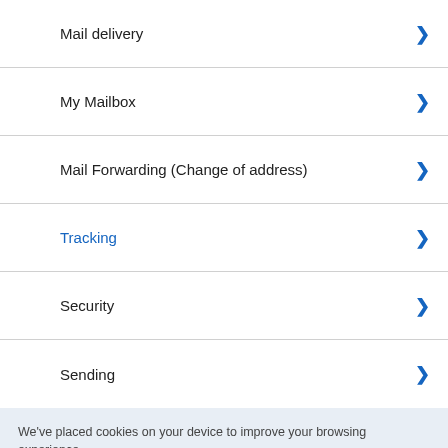Mail delivery
My Mailbox
Mail Forwarding (Change of address)
Tracking
Security
Sending
We've placed cookies on your device to improve your browsing experience.
Read more
I understand